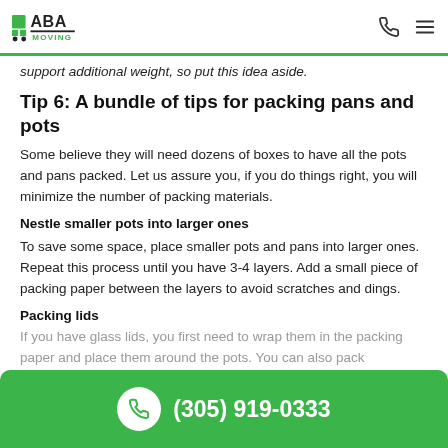ABA Moving
support additional weight, so put this idea aside.
Tip 6: A bundle of tips for packing pans and pots
Some believe they will need dozens of boxes to have all the pots and pans packed. Let us assure you, if you do things right, you will minimize the number of packing materials.
Nestle smaller pots into larger ones
To save some space, place smaller pots and pans into larger ones. Repeat this process until you have 3-4 layers. Add a small piece of packing paper between the layers to avoid scratches and dings.
Packing lids
If you have glass lids, you first need to wrap them in the packing paper and place them around the pots. You can also pack
(305) 919-0333